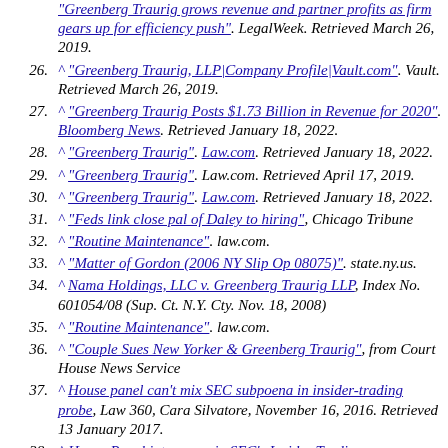"Greenberg Traurig grows revenue and partner profits as firm gears up for efficiency push". LegalWeek. Retrieved March 26, 2019.
26. ^ "Greenberg Traurig, LLP|Company Profile|Vault.com". Vault. Retrieved March 26, 2019.
27. ^ "Greenberg Traurig Posts $1.73 Billion in Revenue for 2020". Bloomberg News. Retrieved January 18, 2022.
28. ^ "Greenberg Traurig". Law.com. Retrieved January 18, 2022.
29. ^ "Greenberg Traurig". Law.com. Retrieved April 17, 2019.
30. ^ "Greenberg Traurig". Law.com. Retrieved January 18, 2022.
31. ^ "Feds link close pal of Daley to hiring", Chicago Tribune
32. ^ "Routine Maintenance". law.com.
33. ^ "Matter of Gordon (2006 NY Slip Op 08075)". state.ny.us.
34. ^ Nama Holdings, LLC v. Greenberg Traurig LLP, Index No. 601054/08 (Sup. Ct. N.Y. Cty. Nov. 18, 2008)
35. ^ "Routine Maintenance". law.com.
36. ^ "Couple Sues New Yorker & Greenberg Traurig", from Court House News Service
37. ^ House panel can't mix SEC subpoena in insider-trading probe, Law 360, Cara Silvatore, November 16, 2016. Retrieved 13 January 2017.
38. ^ House Panel intervenes in SEC's Insider Trading Investigation, Shepherd, Finkleman, Miller & Shah, Casey